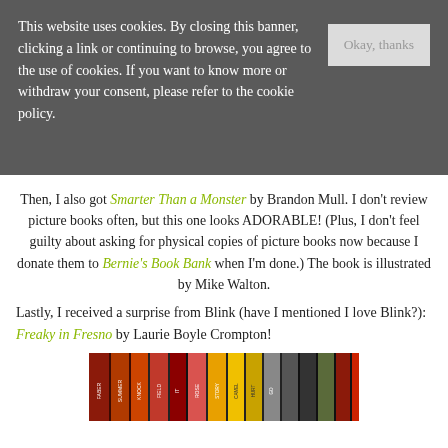This website uses cookies. By closing this banner, clicking a link or continuing to browse, you agree to the use of cookies. If you want to know more or withdraw your consent, please refer to the cookie policy.
Then, I also got Smarter Than a Monster by Brandon Mull. I don't review picture books often, but this one looks ADORABLE! (Plus, I don't feel guilty about asking for physical copies of picture books now because I donate them to Bernie's Book Bank when I'm done.) The book is illustrated by Mike Walton.
Lastly, I received a surprise from Blink (have I mentioned I love Blink?): Freaky in Fresno by Laurie Boyle Crompton!
[Figure (photo): A row of book spines arranged vertically, showing colorful covers of various books.]